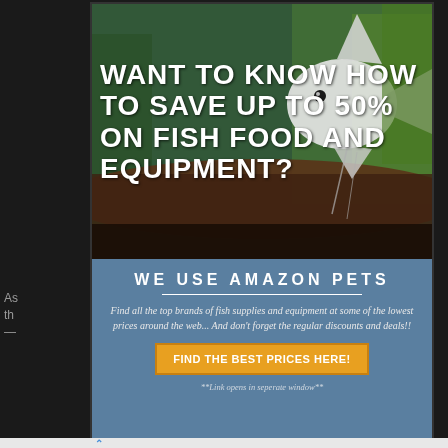[Figure (illustration): Advertisement banner showing an angelfish in an aquarium with green plants and brown driftwood background. Bold white text overlaid reads: WANT TO KNOW HOW TO SAVE UP TO 50% ON FISH FOOD AND EQUIPMENT?]
WANT TO KNOW HOW TO SAVE UP TO 50% ON FISH FOOD AND EQUIPMENT?
WE USE AMAZON PETS
Find all the top brands of fish supplies and equipment at some of the lowest prices around the web... And don't forget the regular discounts and deals!!
FIND THE BEST PRICES HERE!
**Link opens in seperate window**